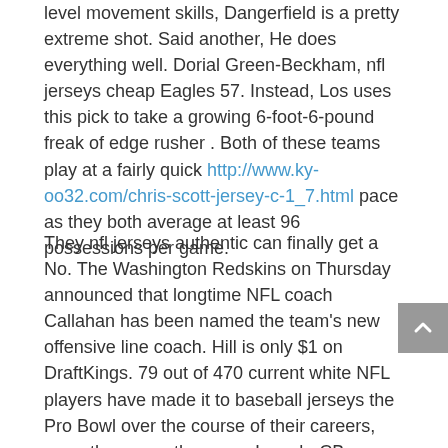level movement skills, Dangerfield is a pretty extreme shot. Said another, He does everything well. Dorial Green-Beckham, nfl jerseys cheap Eagles 57. Instead, Los uses this pick to take a growing 6-foot-6-pound freak of edge rusher . Both of these teams play at a fairly quick http://www.ky-oo32.com/chris-scott-jersey-c-1_7.html pace as they both average at least 96 possessions per game.
They nfl jerseys authentic can finally get a No. The Washington Redskins on Thursday announced that longtime NFL coach Callahan has been named the team's new offensive line coach. Hill is only $1 on DraftKings. 79 out of 470 current white NFL players have made it to baseball jerseys the Pro Bowl over the course of their careers, more than any other race. Iworah, CB, Kentucky, 5, 192.34-FA 262. I these guys, Marnelli said after a recent Cowboys' walk-through. Absolutely. Include the name of the team you had last